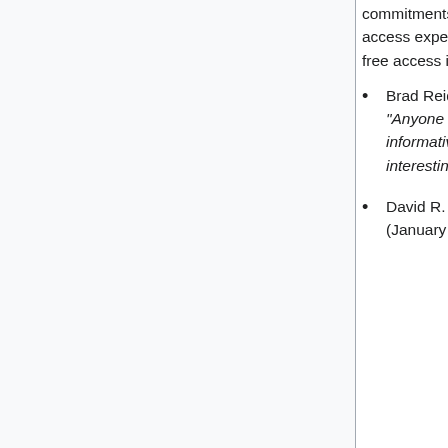commitments made him one of the most respected and listened to on the issue of open access experts. In his latest book, Open Access,...[he] offers a reasoned introduction to free access in clear language, combining pedagogy [with] pragmatism."
Brad Reid, Peter Suber, Open Access, Computing Reviews, October 29, 2013. "Anyone in the computing, publishing, archiving, and library worlds will find [this book] informative, interesting, and nontechnical....This is a compact presentation of the interesting and important topic of OA."
David R. Stewart, Peter Suber, Open Access, Theological Librarianship, 7, 1 (January 2014) pp. 72-74. "It is very easy to imagine a book on this